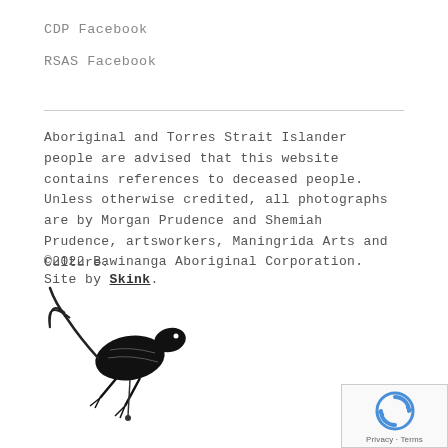CDP Facebook
RSAS Facebook
Aboriginal and Torres Strait Islander people are advised that this website contains references to deceased people. Unless otherwise credited, all photographs are by Morgan Prudence and Shemiah Prudence, artsworkers, Maningrida Arts and Culture.
©2022 Bawinanga Aboriginal Corporation. Site by Skink.
[Figure (illustration): Black ink illustration of a small animal (lizard/skink) with a curved tail and detailed body markings]
[Figure (logo): reCAPTCHA widget box showing a circular arrow icon with 'Privacy - Terms' text below]